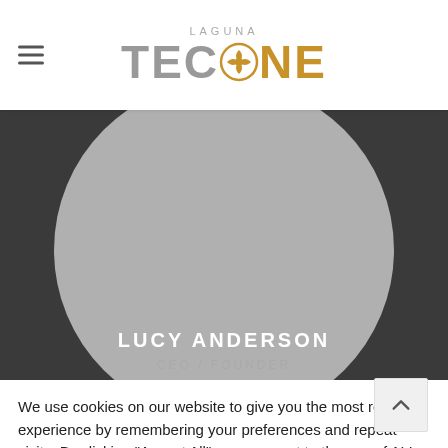LAGUNA TECSTONE
[Figure (photo): Grey circle placeholder image for person profile photo on dark background. Name 'LUCY ANDERSON' and title 'CEO / FOUNDER' overlaid at bottom.]
We use cookies on our website to give you the most relevant experience by remembering your preferences and repeat visits. By clicking "Accept All", you consent to the use of ALL the cookies. However, you may visit "Cookie Settings" to provide a controlled consent.
Cookie Settings  Accept All